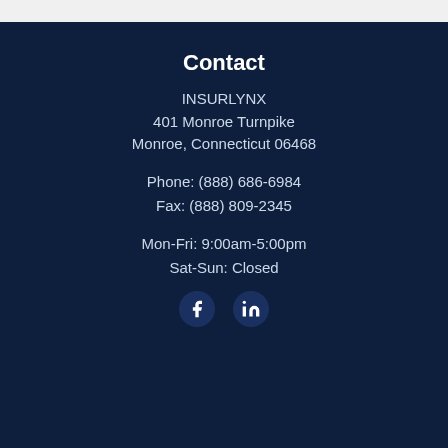Contact
INSURLYNX
401 Monroe Turnpike
Monroe, Connecticut 06468
Phone: (888) 686-6984
Fax: (888) 809-2345
Mon-Fri: 9:00am-5:00pm
Sat-Sun: Closed
[Figure (illustration): Facebook and LinkedIn social media icons]